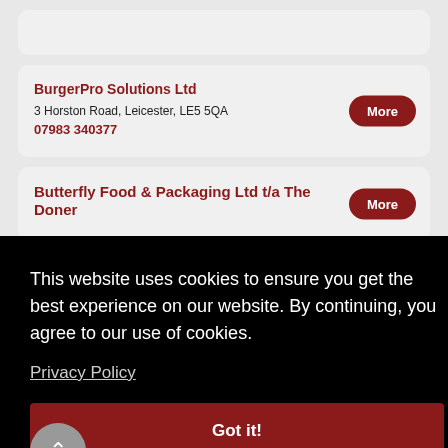BurgerPro Solutions Ltd
3 Horston Road, Leicester, LE5 5QA
07983 340377
Butterfly Food & Packaging Ltd t/a The Doner
This website uses cookies to ensure you get the best experience on our website. By continuing, you agree to our use of cookies.
Privacy Policy
Got it!
01922 745500